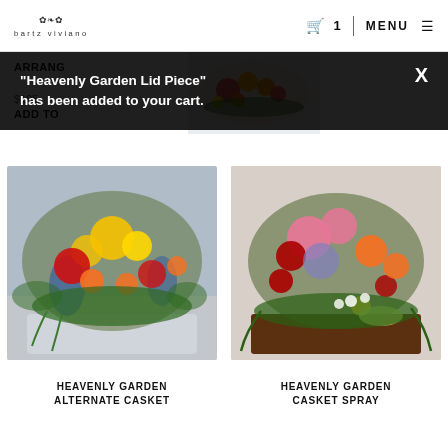bartz viviano | Cart 1 | MENU
ARRANG
$195.
ADD TO
[Figure (photo): Colorful floral arrangement (casket lid piece) on white background, partially visible behind notification overlay]
"Heavenly Garden Lid Piece" has been added to your cart.
[Figure (photo): Colorful casket spray arrangement with red gerberas, yellow lilies, orange carnations, blue delphiniums on a silver casket]
[Figure (photo): Colorful casket spray with pink stargazer lilies, red roses, orange gerberas, blue hydrangea on a dark wood casket]
HEAVENLY GARDEN
ALTERNATE CASKET
HEAVENLY GARDEN
CASKET SPRAY